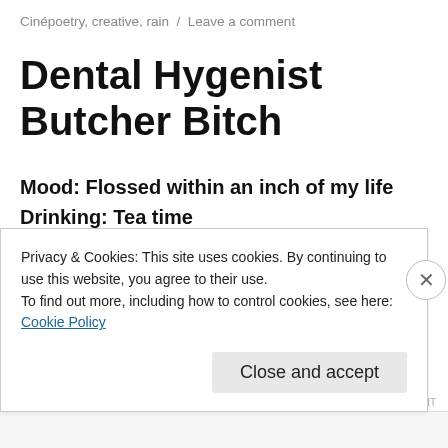Cinépoetry, creative, rain / Leave a comment
Dental Hygenist Butcher Bitch
Mood: Flossed within an inch of my life
Drinking: Tea time
I know I'm not the only one who has a serious dentist phobia. I know there are lots of you out
Privacy & Cookies: This site uses cookies. By continuing to use this website, you agree to their use.
To find out more, including how to control cookies, see here: Cookie Policy
Close and accept